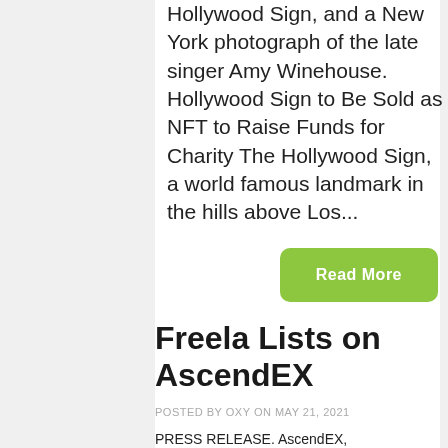Hollywood Sign, and a New York photograph of the late singer Amy Winehouse. Hollywood Sign to Be Sold as NFT to Raise Funds for Charity The Hollywood Sign, a world famous landmark in the hills above Los...
Read More
Freela Lists on AscendEX
POSTED BY OXY ON MAY 21, 2021
PRESS RELEASE. AscendEX, formerly BitMax, an industry...